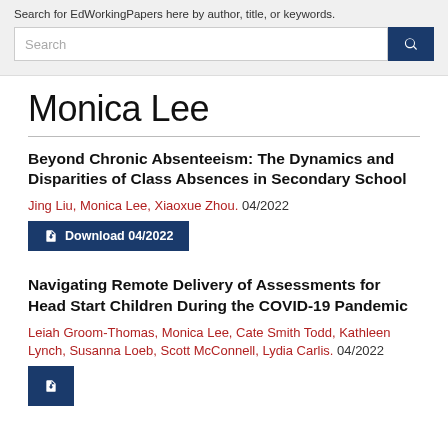Search for EdWorkingPapers here by author, title, or keywords.
Monica Lee
Beyond Chronic Absenteeism: The Dynamics and Disparities of Class Absences in Secondary School
Jing Liu, Monica Lee, Xiaoxue Zhou. 04/2022
Download 04/2022
Navigating Remote Delivery of Assessments for Head Start Children During the COVID-19 Pandemic
Leiah Groom-Thomas, Monica Lee, Cate Smith Todd, Kathleen Lynch, Susanna Loeb, Scott McConnell, Lydia Carlis. 04/2022